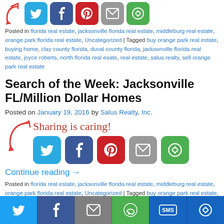[Figure (infographic): Social share buttons bar at top: arrow, Twitter (blue), Facebook (dark blue), Pinterest (red), Email (gray), More (green)]
Posted in florida real estate, jacksonville florida real estate, middleburg real estate, orange park florida real estate, Uncategorized | Tagged buy orange park real estate, buying home, clay county florida, duval county florida, jacksonville florida real estate, joyce roberts, north florida real esate, real estate, salus realty, sell orange park real estate
Search of the Week: Jacksonville FL/Million Dollar Homes
Posted on January 19, 2016 by Salus Realty, Inc.
[Figure (infographic): Sharing is caring! widget with arrow and social share icons: Twitter, Facebook, Pinterest, Email, More]
Continue reading →
Posted in florida real estate, jacksonville florida real estate, middleburg real estate, orange park florida real estate, Uncategorized | Tagged buy orange park real estate, buying home, clay county florida, duval county florida, jacksonville florida real estate, joyce roberts, north
[Figure (infographic): Bottom share bar: Twitter, Facebook, Email, WhatsApp, SMS, More buttons]